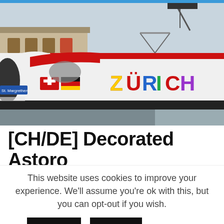[Figure (photo): A white high-speed train decorated with 'ZÜRICH' text in colorful letters and Swiss/German flags on the nose, stopped at a railway platform. A beige station building is visible in the background on the left.]
[CH/DE] Decorated Astoro
This website uses cookies to improve your experience. We'll assume you're ok with this, but you can opt-out if you wish.